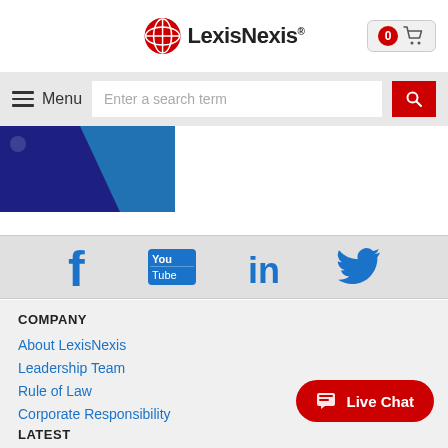LexisNexis
[Figure (logo): LexisNexis logo with red globe icon and wordmark]
[Figure (screenshot): Navigation bar with hamburger Menu button, search field 'Enter a search term', and red search button]
[Figure (illustration): Partial banner image with dark blue and light blue gradient]
[Figure (infographic): Social media icons bar: Facebook, YouTube, LinkedIn, Twitter in blue on light grey background]
COMPANY
About LexisNexis
Leadership Team
Rule of Law
Corporate Responsibility
[Figure (other): Live Chat button in red with chat icon]
LATEST